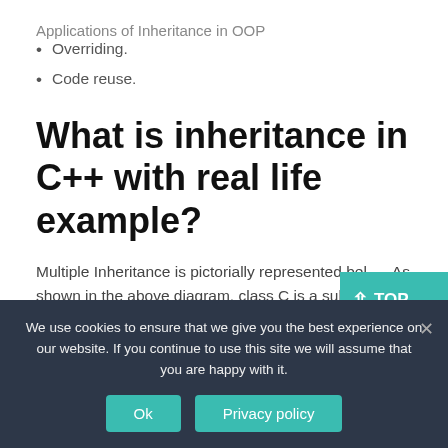Applications of Inheritance in OOP
Overriding.
Code reuse.
What is inheritance in C++ with real life example?
Multiple Inheritance is pictorially represented bel... As shown in the above diagram, class C is a subclass
We use cookies to ensure that we give you the best experience on our website. If you continue to use this site we will assume that you are happy with it.